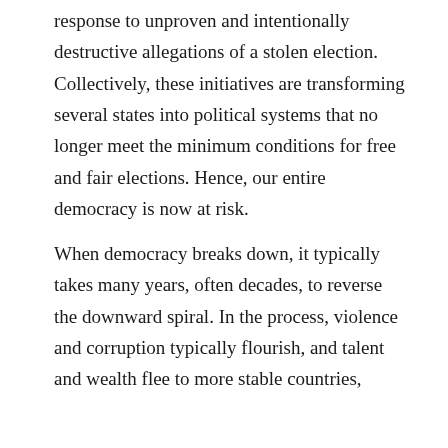response to unproven and intentionally destructive allegations of a stolen election. Collectively, these initiatives are transforming several states into political systems that no longer meet the minimum conditions for free and fair elections. Hence, our entire democracy is now at risk.
When democracy breaks down, it typically takes many years, often decades, to reverse the downward spiral. In the process, violence and corruption typically flourish, and talent and wealth flee to more stable countries,